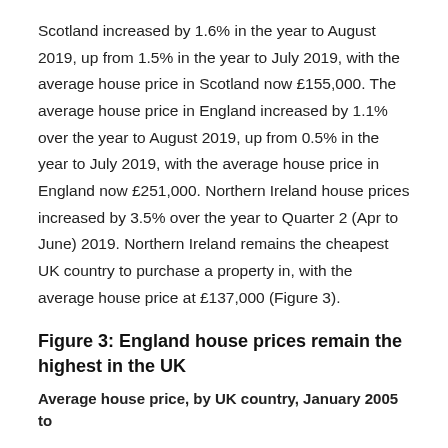Scotland increased by 1.6% in the year to August 2019, up from 1.5% in the year to July 2019, with the average house price in Scotland now £155,000. The average house price in England increased by 1.1% over the year to August 2019, up from 0.5% in the year to July 2019, with the average house price in England now £251,000. Northern Ireland house prices increased by 3.5% over the year to Quarter 2 (Apr to June) 2019. Northern Ireland remains the cheapest UK country to purchase a property in, with the average house price at £137,000 (Figure 3).
Figure 3: England house prices remain the highest in the UK
Average house price, by UK country, January 2005 to